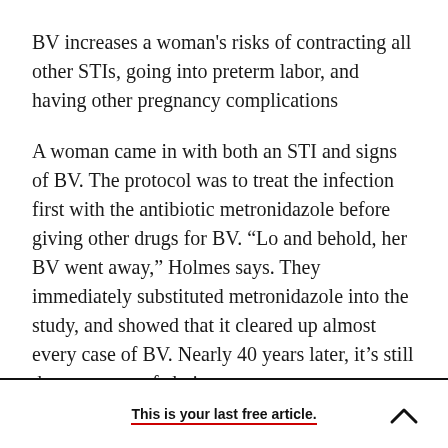BV increases a woman's risks of contracting all other STIs, going into preterm labor, and having other pregnancy complications
A woman came in with both an STI and signs of BV. The protocol was to treat the infection first with the antibiotic metronidazole before giving other drugs for BV. “Lo and behold, her BV went away,” Holmes says. They immediately substituted metronidazole into the study, and showed that it cleared up almost every case of BV. Nearly 40 years later, it’s still the treatment of choice.
This is your last free article.